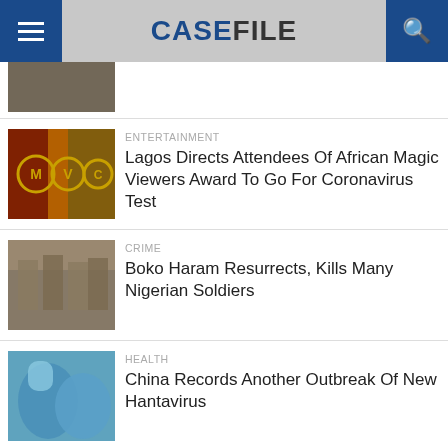CASEFILE
[Figure (photo): Partial image visible at top of news list]
ENTERTAINMENT
Lagos Directs Attendees Of African Magic Viewers Award To Go For Coronavirus Test
[Figure (photo): Africa Magic Viewers Choice Award logo with yellow and dark background]
CRIME
Boko Haram Resurrects, Kills Many Nigerian Soldiers
[Figure (photo): Nigerian soldiers in camouflage uniforms]
HEALTH
China Records Another Outbreak Of New Hantavirus
[Figure (photo): Person in blue protective medical gear]
HEALTH
[Figure (photo): Partial image at bottom, red background]